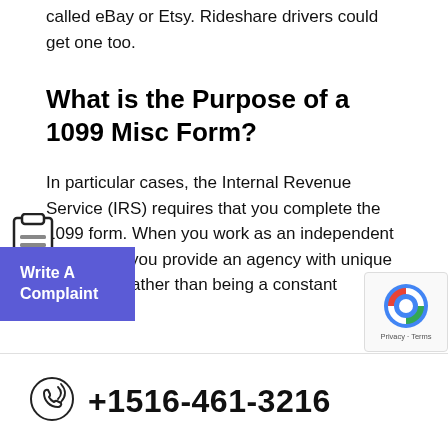called eBay or Etsy. Rideshare drivers could get one too.
What is the Purpose of a 1099 Misc Form?
In particular cases, the Internal Revenue Service (IRS) requires that you complete the 1099 form. When you work as an independent contractor, you provide an agency with unique resources rather than being a constant employee.
+1516-461-3216
means you and how it can